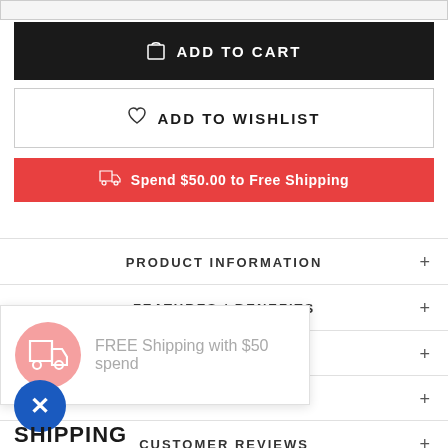ADD TO CART
ADD TO WISHLIST
Spend $50.00 to Free Shipping
PRODUCT INFORMATION
FEATURES / BENEFITS
DIRECTIONS
INGREDIENTS
CUSTOMER REVIEWS
FREE Shipping with $50 spend
SHIPPING